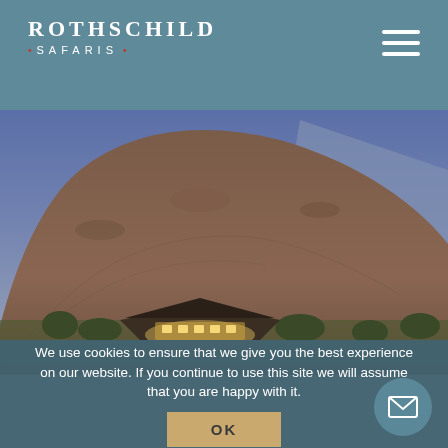ROTHSCHILD SAFARIS
[Figure (photo): Aerial/landscape view of an illuminated safari lodge at dusk, nestled among scrubby trees at the base of a large rocky hill/mountain under a blue twilight sky.]
We use cookies to ensure that we give you the best experience on our website. If you continue to use this site we will assume that you are happy with it.
OK
Five private suites surround a central comm...